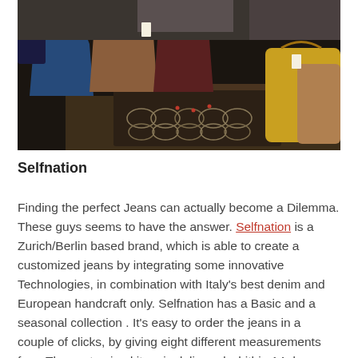[Figure (photo): Photo of handbags and jewelry/accessories displayed on a table and in a vintage trunk at what appears to be a market or trade show. Bags include blue, brown, burgundy, yellow, and tan leather bags. The trunk contains various necklaces and jewelry pieces.]
Selfnation
Finding the perfect Jeans can actually become a Dilemma. These guys seems to have the answer. Selfnation is a Zurich/Berlin based brand, which is able to create a customized jeans by integrating some innovative Technologies, in combination with Italy's best denim and European handcraft only. Selfnation has a Basic and a seasonal collection . It's easy to order the jeans in a couple of clicks, by giving eight different measurements free. The customized item is delivered whithin 14 days from Germany and if it does not fit, they have a replacement. Bespoke...